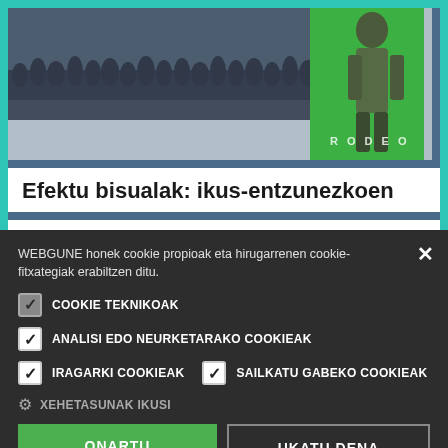[Figure (photo): Movie/VFX scene showing a crowd in a snowy landscape on the left, and a person in military/winter gear on a green screen on the right, with the word RODEO visible.]
Efektu bisualak: ikus-entzunezkoen
WEBGUNE honek cookie propioak eta hirugarrenen cookie-fitxategiak erabiltzen ditu.
COOKIE TEKNIKOAK
ANALISI EDO NEURKETARAKO COOKIEAK
IRAGARKI COOKIEAK
SAILKATU GABEKO COOKIEAK
XEHETASUNAK IKUSI
ONARTU
UKATU DENA
POWERED BY COOKIE-SCRIPT